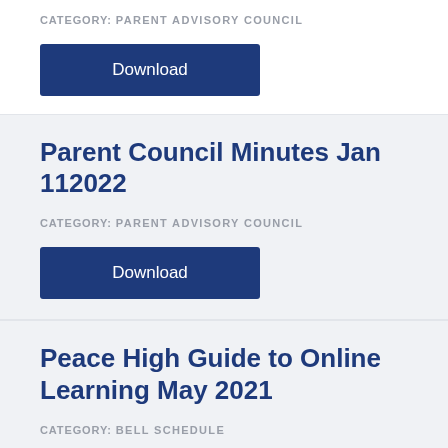CATEGORY: PARENT ADVISORY COUNCIL
[Figure (other): Download button (dark navy blue rectangle)]
Parent Council Minutes Jan 112022
CATEGORY: PARENT ADVISORY COUNCIL
[Figure (other): Download button (dark navy blue rectangle)]
Peace High Guide to Online Learning May 2021
CATEGORY: BELL SCHEDULE